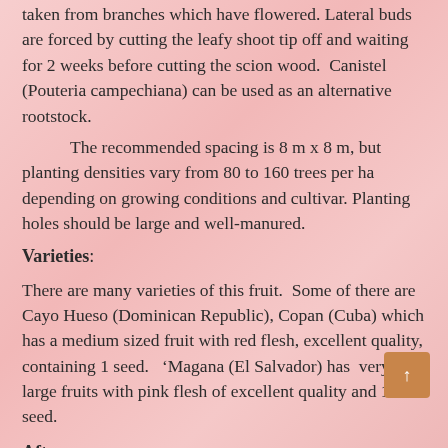taken from branches which have flowered. Lateral buds are forced by cutting the leafy shoot tip off and waiting for 2 weeks before cutting the scion wood.  Canistel (Pouteria campechiana) can be used as an alternative rootstock.
The recommended spacing is 8 m x 8 m, but planting densities vary from 80 to 160 trees per ha depending on growing conditions and cultivar. Planting holes should be large and well-manured.
Varieties:
There are many varieties of this fruit.  Some of there are Cayo Hueso (Dominican Republic), Copan (Cuba) which has a medium sized fruit with red flesh, excellent quality, containing 1 seed.  ‘Magana (El Salvador) has  very large fruits with pink flesh of excellent quality and 1 seed.
After care: